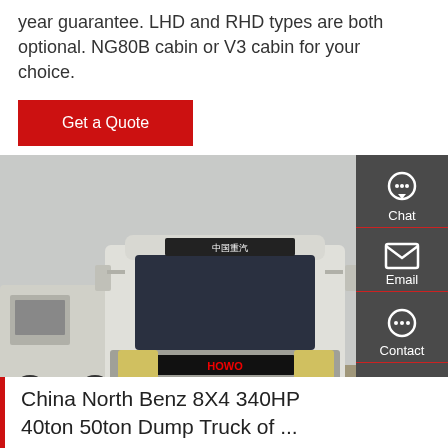year guarantee. LHD and RHD types are both optional. NG80B cabin or V3 cabin for your choice.
Get a Quote
[Figure (photo): Front view of a white HOWO heavy-duty truck (tractor head) parked in a lot, with another truck visible on the left and trees in the background. Chinese characters visible on the cab roof panel.]
China North Benz 8X4 340HP 40ton 50ton Dump Truck of ...